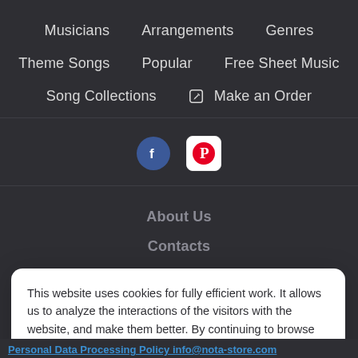Musicians
Arrangements
Genres
Theme Songs
Popular
Free Sheet Music
Song Collections
Make an Order
[Figure (logo): Facebook circular blue icon and Pinterest red/white square icon]
About Us
Contacts
This website uses cookies for fully efficient work. It allows us to analyze the interactions of the visitors with the website, and make them better. By continuing to browse the website you agree to our use of cookies.
Accept
Personal Data Processing Policy info@nota-store.com